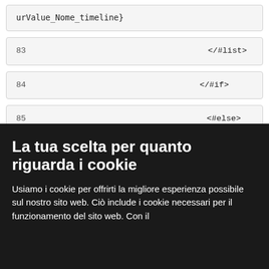urValue_Nome_timeline}
83    </#list>
84    </#if>
85    <#else>
86    <#--${cur_record.getFieldValue("Nome", locale)}
La tua scelta per quanto riguarda i cookie
Usiamo i cookie per offrirti la migliore esperienza possibile sul nostro sito web. Ciò include i cookie necessari per il funzionamento del sito web. Con il